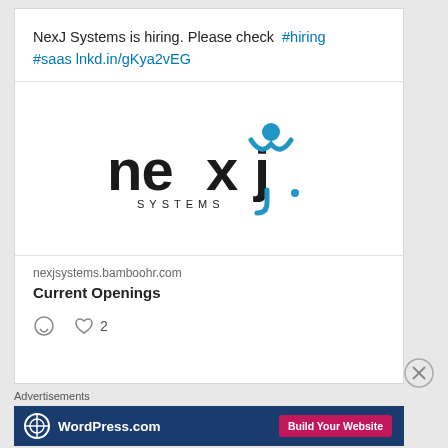NexJ Systems is hiring. Please check #hiring #saas lnkd.in/gKya2vEG
[Figure (logo): NexJ Systems logo in black and blue]
nexjsystems.bamboohr.com
Current Openings
[Figure (screenshot): WordPress.com advertisement banner with Build Your Website button]